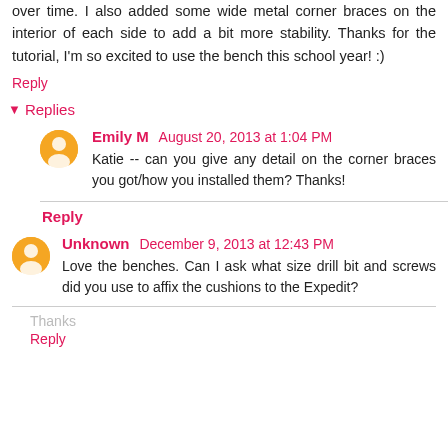over time. I also added some wide metal corner braces on the interior of each side to add a bit more stability. Thanks for the tutorial, I'm so excited to use the bench this school year! :)
Reply
Replies
Emily M August 20, 2013 at 1:04 PM
Katie -- can you give any detail on the corner braces you got/how you installed them? Thanks!
Reply
Unknown December 9, 2013 at 12:43 PM
Love the benches. Can I ask what size drill bit and screws did you use to affix the cushions to the Expedit?
Thanks
Reply